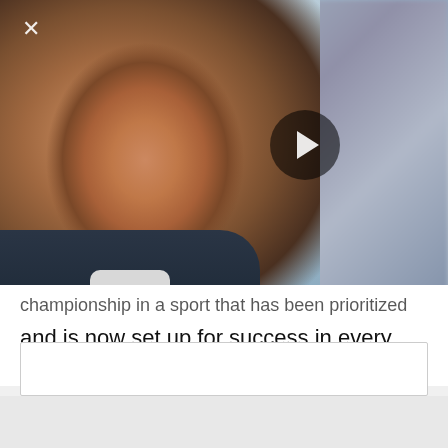[Figure (photo): A basketball coach in a dark suit and white shirt, mouth open as if speaking or reacting during a game, with blurred crowd in the background. A semi-transparent dark circular play button overlay is visible in the upper right area of the photo. A close (X) button is in the upper left corner.]
championship in a sport that has been prioritized and is now set up for success in every meaningful way.